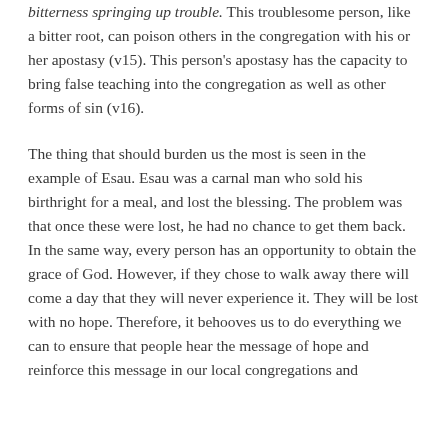bitterness springing up trouble. This troublesome person, like a bitter root, can poison others in the congregation with his or her apostasy (v15). This person's apostasy has the capacity to bring false teaching into the congregation as well as other forms of sin (v16).
The thing that should burden us the most is seen in the example of Esau. Esau was a carnal man who sold his birthright for a meal, and lost the blessing. The problem was that once these were lost, he had no chance to get them back. In the same way, every person has an opportunity to obtain the grace of God. However, if they chose to walk away there will come a day that they will never experience it. They will be lost with no hope. Therefore, it behooves us to do everything we can to ensure that people hear the message of hope and reinforce this message in our local congregations and